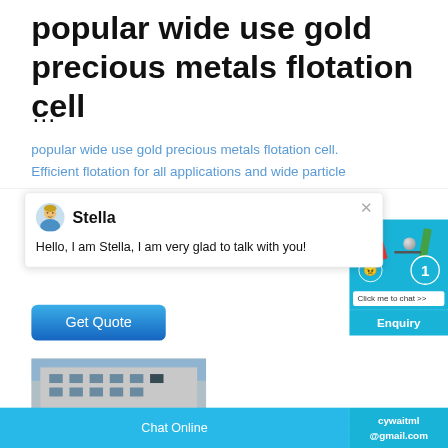popular wide use gold precious metals flotation cell
...
popular wide use gold precious metals flotation cell. Efficient flotation for all applications and wide particle
[Figure (screenshot): Chat popup with avatar of Stella. Text reads: Hello, I am Stella, I am very glad to talk with you!]
[Figure (screenshot): Blue Get Quote button]
[Figure (screenshot): Right side chat widget with number badge '1' and 'Click me to chat >>' button, Enquiry section, cywaitml@gmail.com text]
[Figure (photo): Building exterior photo (partially visible)]
Chat Online   cywaitml@gmail.com